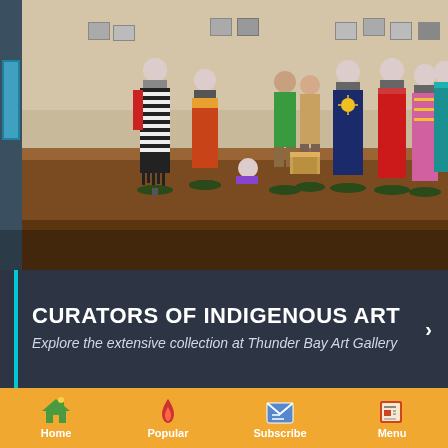[Figure (photo): Interior of an art gallery with cream walls and brown carpeted floor. Multiple mannequins display colorful indigenous garments and traditional clothing. Framed photographs hang on the walls. A few visitors are seen examining the exhibits, including one crouching near a drum. The display includes a black and white striped garment, red dress, pink beaded dress, teal outfit, and other traditional indigenous clothing.]
CURATORS OF INDIGENOUS ART
Explore the extensive collection at Thunder Bay Art Gallery
Home  Popular  Subscribe  Menu